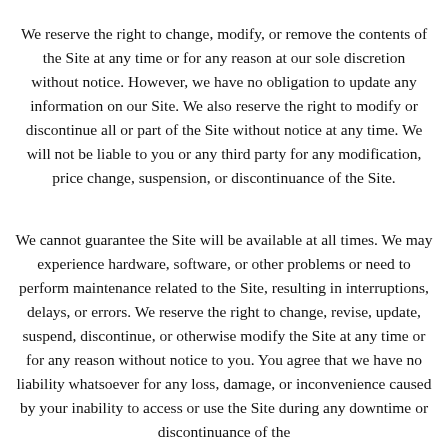We reserve the right to change, modify, or remove the contents of the Site at any time or for any reason at our sole discretion without notice. However, we have no obligation to update any information on our Site. We also reserve the right to modify or discontinue all or part of the Site without notice at any time. We will not be liable to you or any third party for any modification, price change, suspension, or discontinuance of the Site.
We cannot guarantee the Site will be available at all times. We may experience hardware, software, or other problems or need to perform maintenance related to the Site, resulting in interruptions, delays, or errors. We reserve the right to change, revise, update, suspend, discontinue, or otherwise modify the Site at any time or for any reason without notice to you. You agree that we have no liability whatsoever for any loss, damage, or inconvenience caused by your inability to access or use the Site during any downtime or discontinuance of the